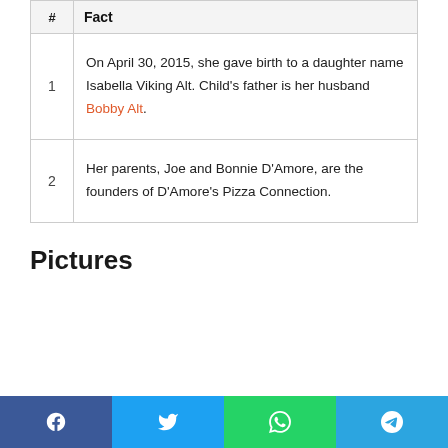| # | Fact |
| --- | --- |
| 1 | On April 30, 2015, she gave birth to a daughter name Isabella Viking Alt. Child's father is her husband Bobby Alt. |
| 2 | Her parents, Joe and Bonnie D'Amore, are the founders of D'Amore's Pizza Connection. |
Pictures
Facebook | Twitter | WhatsApp | Telegram